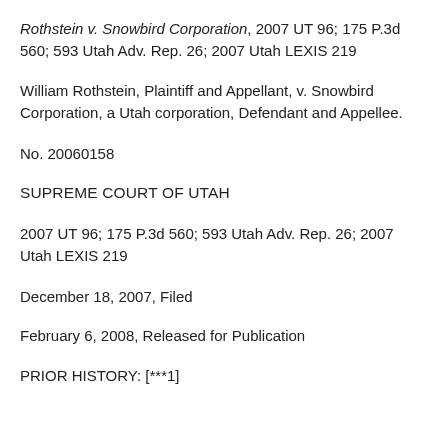Rothstein v. Snowbird Corporation, 2007 UT 96; 175 P.3d 560; 593 Utah Adv. Rep. 26; 2007 Utah LEXIS 219
William Rothstein, Plaintiff and Appellant, v. Snowbird Corporation, a Utah corporation, Defendant and Appellee.
No. 20060158
SUPREME COURT OF UTAH
2007 UT 96; 175 P.3d 560; 593 Utah Adv. Rep. 26; 2007 Utah LEXIS 219
December 18, 2007, Filed
February 6, 2008, Released for Publication
PRIOR HISTORY: [***1]